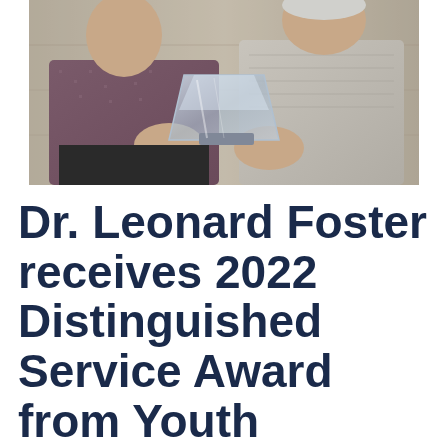[Figure (photo): Two people holding a glass award trophy together, one wearing a dark patterned shirt and the other wearing a grey sweater, photographed indoors]
Dr. Leonard Foster receives 2022 Distinguished Service Award from Youth Science Canada